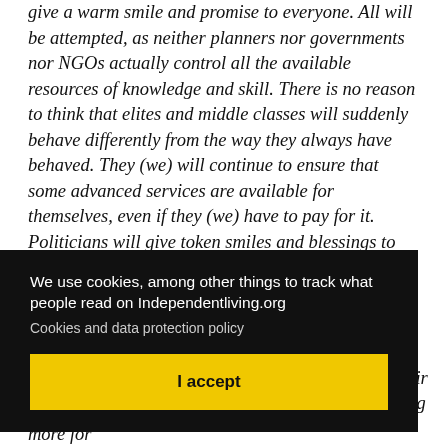give a warm smile and promise to everyone. All will be attempted, as neither planners nor governments nor NGOs actually control all the available resources of knowledge and skill. There is no reason to think that elites and middle classes will suddenly behave differently from the way they always have behaved. They (we) will continue to ensure that some advanced services are available for themselves, even if they (we) have to pay for it. Politicians will give token smiles and blessings to the mass of poor and disabled people, as this is good for their
We use cookies, among other things to track what people read on Independentliving.org
Cookies and data protection policy
I accept
...he ...heir ...ong them will get involved with schemes to do a little more for